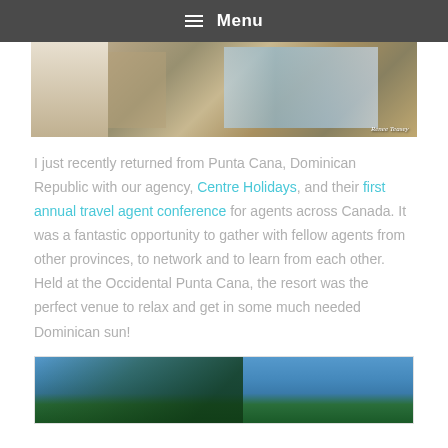Menu
[Figure (photo): Beach scene with people and travel agency display boards on sand]
I just recently returned from Punta Cana, Dominican Republic with our agency, Centre Holidays, and their first annual travel agent conference for agents across Canada. It was a fantastic opportunity to gather with fellow agents from other provinces, to network and to learn from each other. Held at the Occidental Punta Cana, the resort was the perfect venue to relax and get in some much needed Dominican sun!
[Figure (photo): Palm trees against a blue sky in Punta Cana]